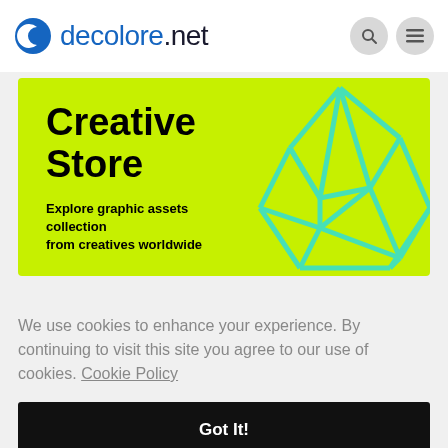decolore.net
[Figure (illustration): Creative Store banner on yellow-green background with a 3D geometric cyan wireframe sphere shape on the right. Text reads: Creative Store. Explore graphic assets collection from creatives worldwide.]
We use cookies to enhance your experience. By continuing to visit this site you agree to our use of cookies. Cookie Policy
Got It!